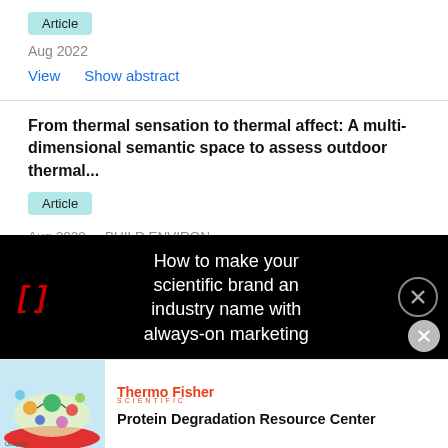Article
Aug 2022
View    Show abstract
From thermal sensation to thermal affect: A multi-dimensional semantic space to assess outdoor thermal...
Article
Aug 2020 · BUILD ENVIRON
Sijie Liu · Negin Nazarian · Richard de Dear ·
[] How to make your scientific brand an industry name with always-on marketing
[Figure (illustration): Thermo Fisher Scientific Protein Degradation Resource Center advertisement with colorful molecular biology illustration]
Protein Degradation Resource Center